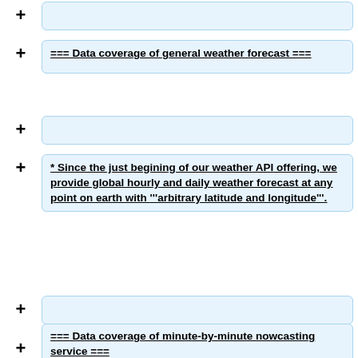+ [empty box]
=== Data coverage of general weather forecast ===
+ [empty box]
* Since the just begining of our weather API offering, we provide global hourly and daily weather forecast at any point on earth with '''arbitrary latitude and longitude'''.
+ [empty box]
=== Data coverage of minute-by-minute nowcasting service ===
+ [empty box]